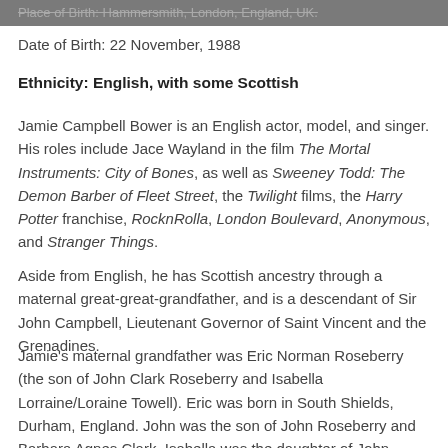Place of Birth: Hammersmith, London, England, UK.
Date of Birth: 22 November, 1988
Ethnicity: English, with some Scottish
Jamie Campbell Bower is an English actor, model, and singer. His roles include Jace Wayland in the film The Mortal Instruments: City of Bones, as well as Sweeney Todd: The Demon Barber of Fleet Street, the Twilight films, the Harry Potter franchise, RocknRolla, London Boulevard, Anonymous, and Stranger Things.
Aside from English, he has Scottish ancestry through a maternal great-great-grandfather, and is a descendant of Sir John Campbell, Lieutenant Governor of Saint Vincent and the Grenadines.
Jamie's maternal grandfather was Eric Norman Roseberry (the son of John Clark Roseberry and Isabella Lorraine/Loraine Towell). Eric was born in South Shields, Durham, England. John was the son of John Roseberry and Barbara Agnes Clark. Isabella was the daughter of John William Towell and Mary Alice Hedley.